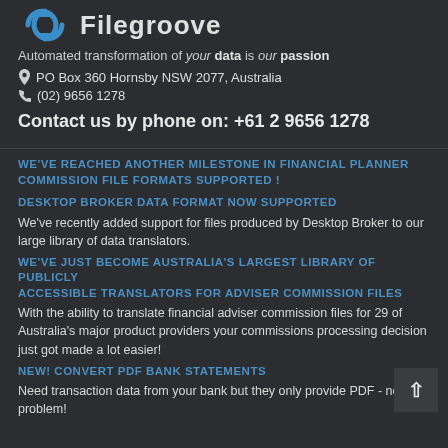[Figure (logo): Filegroove logo with blue circular arrows icon and company name text]
Automated transformation of your data is our passion
PO Box 360 Hornsby NSW 2077, Australia
(02) 9656 1278
Contact us by phone on: +61 2 9656 1278
WE'VE REACHED ANOTHER MILESTONE IN FINANCIAL PLANNER COMMISSION FILE FORMATS SUPPORTED !
DESKTOP BROKER DATA FORMAT NOW SUPPORTED
We've recently added support for files produced by Desktop Broker to our large library of data translators.
WE'VE JUST BECOME AUSTRALIA'S LARGEST LIBRARY OF PUBLICLY ACCESSIBLE TRANSLATORS FOR ADVISER COMMISSION FILES
With the ability to translate financial adviser commission files for 29 of Australia's major product providers your commissions processing decision just got made a lot easier!
NEW! CONVERT PDF BANK STATEMENTS
Need transaction data from your bank but they only provide PDF - no problem!